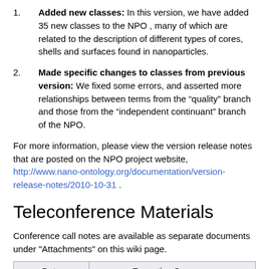1.   Added new classes:  In this version, we have added 35 new classes  to the NPO , many of which are related to the description of different types of cores, shells and surfaces found in nanoparticles.
2.   Made specific changes to classes from previous version:   We fixed some errors, and asserted more relationships between terms from the “quality” branch and those from the “independent continuant” branch of the NPO.
For more information, please view the version release notes that are posted on the NPO project website, http://www.nano-ontology.org/documentation/version-release-notes/2010-10-31 .
Teleconference Materials
Conference call notes are available as separate documents under "Attachments" on this wiki page.
| Date | Executive Summary |
| --- | --- |
| January 12, 2011, 2-4 PM Eastern | The ICR Workspace is hearing reports on activities for the last period.
• Bob Freimuth discussed IRWG work on the LS DAM Updates and additions to the model will appear in the next release. Work on the portion of |